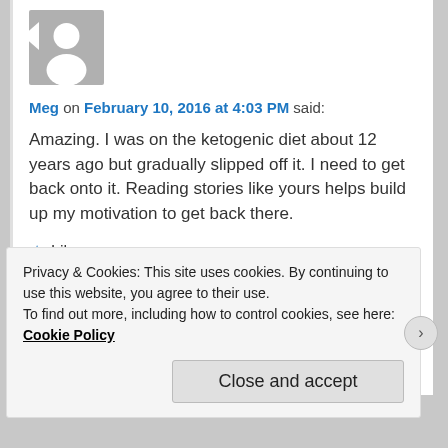[Figure (photo): Gray avatar silhouette placeholder image]
Meg on February 10, 2016 at 4:03 PM said:
Amazing. I was on the ketogenic diet about 12 years ago but gradually slipped off it. I need to get back onto it. Reading stories like yours helps build up my motivation to get back there.
★ Like
Reply ↓
Privacy & Cookies: This site uses cookies. By continuing to use this website, you agree to their use.
To find out more, including how to control cookies, see here: Cookie Policy
Close and accept